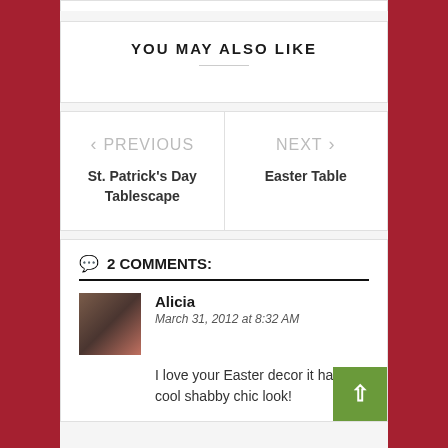YOU MAY ALSO LIKE
< PREVIOUS
St. Patrick's Day Tablescape
NEXT >
Easter Table
2 COMMENTS:
Alicia
March 31, 2012 at 8:32 AM
I love your Easter decor it has a cool shabby chic look!